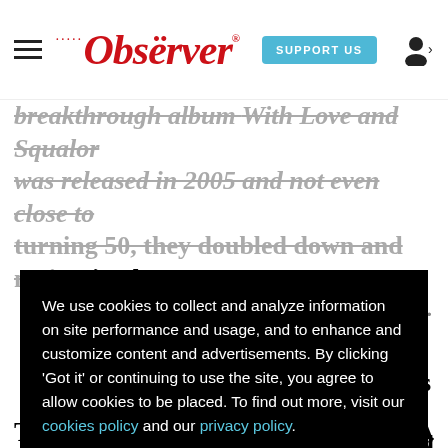Dallas Observer — SUPPORT US
breakthrough album With Love and Squalor was released in 2005 and not even close to turning 50, they doubled down and maintained … y.
We use cookies to collect and analyze information on site performance and usage, and to enhance and customize content and advertisements. By clicking 'Got it' or continuing to use the site, you agree to allow cookies to be placed. To find out more, visit our cookies policy and our privacy policy.
Got it!
A